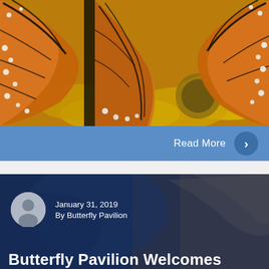[Figure (photo): Close-up photo of monarch butterflies with orange and black wing patterns resting on a yellow flower]
Read More
[Figure (photo): Blog post card with dark blue and brown toned background showing a butterfly, author avatar, date January 31, 2019, by Butterfly Pavilion]
January 31, 2019
By Butterfly Pavilion
Butterfly Pavilion Welcomes